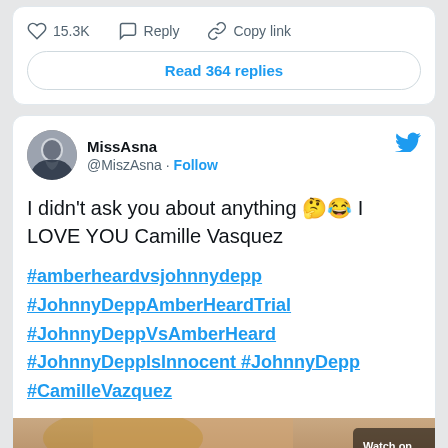15.3K  Reply  Copy link
Read 364 replies
MissAsna @MiszAsna · Follow
I didn't ask you about anything 🤔😂 I LOVE YOU Camille Vasquez
#amberheardvsjohnnydepp #JohnnyDeppAmberHeardTrial #JohnnyDeppVsAmberHeard #JohnnyDeppIsInnocent #JohnnyDepp #CamilleVazquez
[Figure (screenshot): Cropped image at bottom of tweet showing a person's face, partially visible]